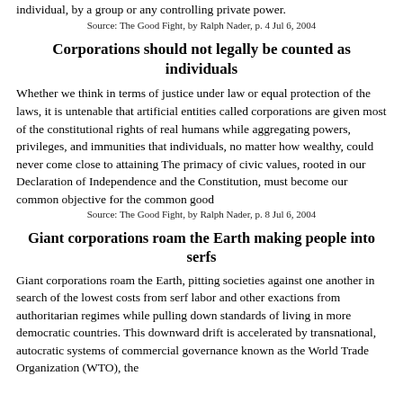individual, by a group or any controlling private power.
Source: The Good Fight, by Ralph Nader, p. 4 Jul 6, 2004
Corporations should not legally be counted as individuals
Whether we think in terms of justice under law or equal protection of the laws, it is untenable that artificial entities called corporations are given most of the constitutional rights of real humans while aggregating powers, privileges, and immunities that individuals, no matter how wealthy, could never come close to attaining The primacy of civic values, rooted in our Declaration of Independence and the Constitution, must become our common objective for the common good
Source: The Good Fight, by Ralph Nader, p. 8 Jul 6, 2004
Giant corporations roam the Earth making people into serfs
Giant corporations roam the Earth, pitting societies against one another in search of the lowest costs from serf labor and other exactions from authoritarian regimes while pulling down standards of living in more democratic countries. This downward drift is accelerated by transnational, autocratic systems of commercial governance known as the World Trade Organization (WTO), the